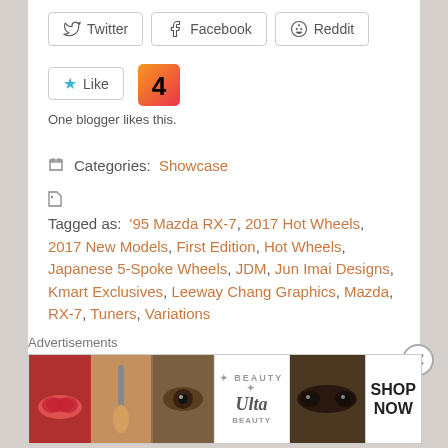[Figure (other): Social share buttons: Twitter, Facebook, Reddit]
[Figure (other): Like button with star icon and avatar image showing number 4, with text 'One blogger likes this.']
Categories: Showcase
Tagged as: '95 Mazda RX-7, 2017 Hot Wheels, 2017 New Models, First Edition, Hot Wheels, Japanese 5-Spoke Wheels, JDM, Jun Imai Designs, Kmart Exclusives, Leeway Chang Graphics, Mazda, RX-7, Tuners, Variations
← 2017 RLC Holiday Car REVEALED, and it goes on sale next
Advertisements
[Figure (photo): ULTA beauty advertisement banner with makeup/cosmetics imagery and SHOP NOW text]